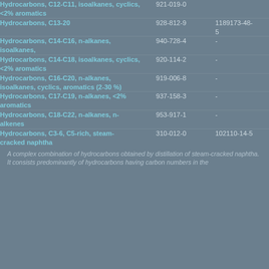| Substance name | EC number | CAS number |
| --- | --- | --- |
| Hydrocarbons, C12-C11, isoalkanes, cyclics, <2% aromatics | 921-019-0 |  |
| Hydrocarbons, C13-20 | 928-812-9 | 1189173-48-5 |
| Hydrocarbons, C14-C16, n-alkanes, isoalkanes, | 940-728-4 | - |
| Hydrocarbons, C14-C18, isoalkanes, cyclics, <2% aromatics | 920-114-2 | - |
| Hydrocarbons, C16-C20, n-alkanes, isoalkanes, cyclics, aromatics (2-30 %) | 919-006-8 | - |
| Hydrocarbons, C17-C19, n-alkanes, <2% aromatics | 937-158-3 | - |
| Hydrocarbons, C18-C22, n-alkanes, n-alkenes | 953-917-1 | - |
| Hydrocarbons, C3-6, C5-rich, steam-cracked naphtha | 310-012-0 | 102110-14-5 |
A complex combination of hydrocarbons obtained by distillation of steam-cracked naphtha. It consists predominantly of hydrocarbons having carbon numbers in the